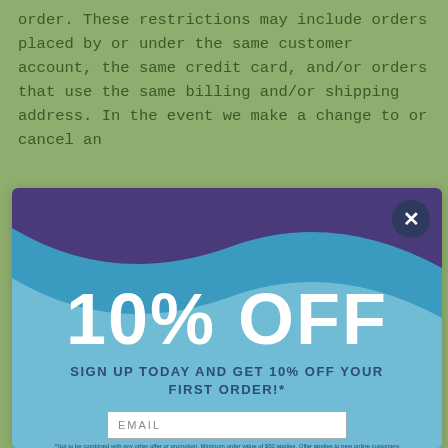order. These restrictions may include orders placed by or under the same customer account, the same credit card, and/or orders that use the same billing and/or shipping address. In the event we make a change to or cancel an
[Figure (screenshot): A promotional modal popup with a light blue background and wave design at the top in purple and blue. Shows '10% OFF' in large white bold text, 'SIGN UP TODAY AND GET 10% OFF YOUR FIRST ORDER!*' in dark blue uppercase text, an EMAIL input field, fine print text, and a SUBSCRIBE button with dark blue border. A dark blue circular close (X) button is in the top right corner.]